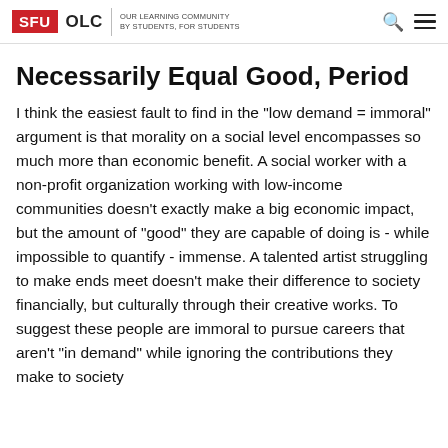SFU OLC | OUR LEARNING COMMUNITY BY STUDENTS, FOR STUDENTS
Necessarily Equal Good, Period
I think the easiest fault to find in the "low demand = immoral" argument is that morality on a social level encompasses so much more than economic benefit. A social worker with a non-profit organization working with low-income communities doesn't exactly make a big economic impact, but the amount of "good" they are capable of doing is - while impossible to quantify - immense. A talented artist struggling to make ends meet doesn't make their difference to society financially, but culturally through their creative works. To suggest these people are immoral to pursue careers that aren't "in demand" while ignoring the contributions they make to society